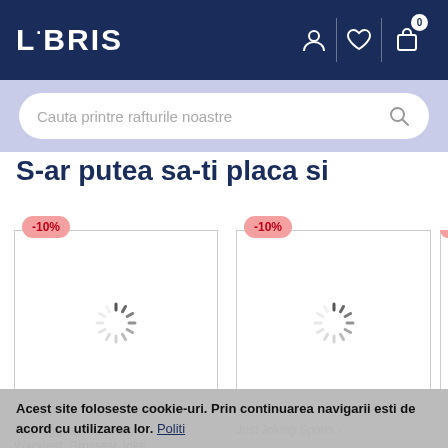LIBRIS
Cauta printre rafturile noastre
S-ar putea sa-ti placa si
[Figure (screenshot): Product card with -10% discount badge and loading spinner inside a bordered book image box. Title text: The Biggest, Funniest, Wackiest, Grossest Joke]
[Figure (screenshot): Product card with -10% discount badge and loading spinner inside a bordered book image box. Title text: Just Joking Sports -]
[Figure (screenshot): Partially visible product card with discount badge, bordered book image box with loading spinner. Title text: W / Yo]
Acest site foloseste cookie-uri. Prin continuarea navigarii esti de acord cu utilizarea lor. Politi...